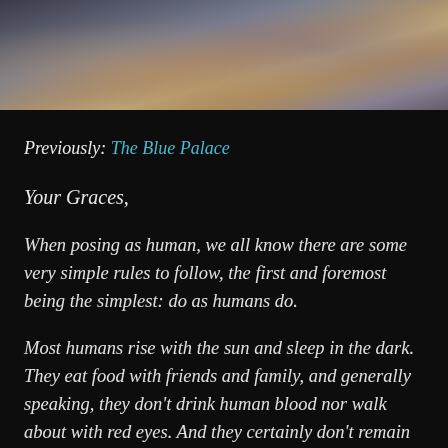[Figure (screenshot): Screenshot from a video game showing stone/ruins environment with earthen tones, appears to be from an Elder Scrolls style game, top portion of page]
Previously: The Blue Palace
Your Graces,
When posing as human, we all know there are some very simple rules to follow, the first and foremost being the simplest: do as humans do.
Most humans rise with the sun and sleep in the dark. They eat food with friends and family, and generally speaking, they don't drink human blood nor walk about with red eyes. And they certainly don't remain the same age as the decades rolled by.